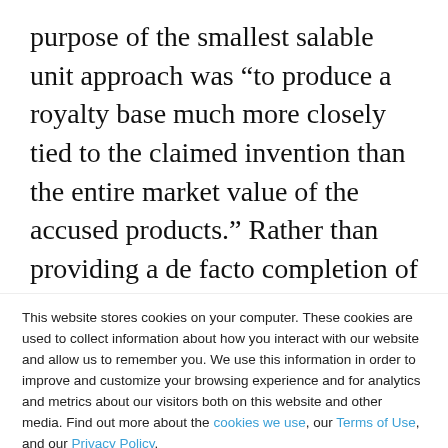purpose of the smallest salable unit approach was “to produce a royalty base much more closely tied to the claimed invention than the entire market value of the accused products.” Rather than providing a de facto completion of the task of establishing a royalty base, “the requirement that a
This website stores cookies on your computer. These cookies are used to collect information about how you interact with our website and allow us to remember you. We use this information in order to improve and customize your browsing experience and for analytics and metrics about our visitors both on this website and other media. Find out more about the cookies we use, our Terms of Use, and our Privacy Policy.

If you decline, your information won’t be tracked when you visit this website. A single cookie will be used in your browser to remember your preference not to be tracked.